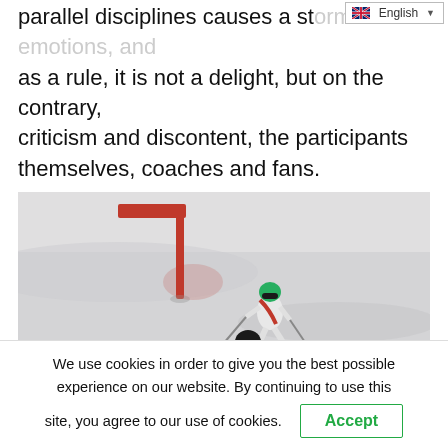English
parallel disciplines causes a storm of emotions, and as a rule, it is not a delight, but on the contrary, criticism and discontent, the participants themselves, coaches and fans.
[Figure (photo): Two alpine skiers racing down a snow slope in parallel slalom, with a red gate pole visible in the background. The skier in front wears a white and red suit with a green helmet, and the skier behind wears a dark suit and helmet.]
We use cookies in order to give you the best possible experience on our website. By continuing to use this site, you agree to our use of cookies.